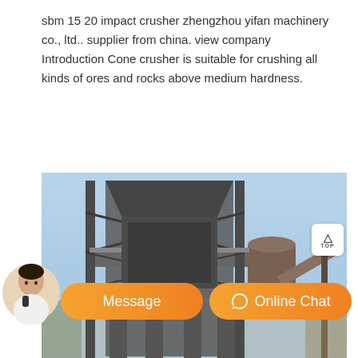sbm 15 20 impact crusher zhengzhou yifan machinery co., ltd.. supplier from china. view company Introduction Cone crusher is suitable for crushing all kinds of ores and rocks above medium hardness.
[Figure (photo): Large industrial impact crusher / mining equipment on a steel scaffold structure, photographed outdoors against a blue sky. Conveyor belt visible on the right side.]
Sbm 15 20 Impact Crusher Mine Equipments